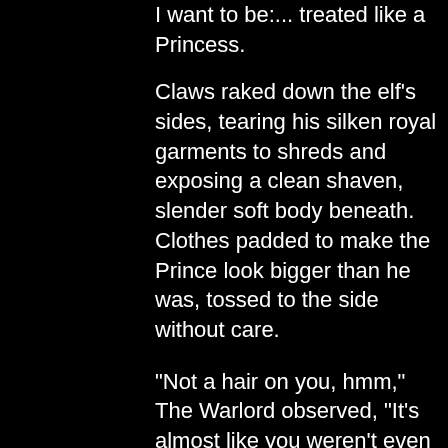I want to be:... treated like a Princess.
Claws raked down the elf's sides, tearing his silken royal garments to shreds and exposing a clean shaven, slender soft body beneath. Clothes padded to make the Prince look bigger than he was, tossed to the side without care.
“Not a hair on you, hmm,” The Warlord observed, “It's almost like you weren't even pretending to be a Man.”
There were no words for the desperate sound that escaped the elf's mouth.
“Such an eager little thing. You want this so badly, don't you?”
“Yes Master. Power... Taken away from